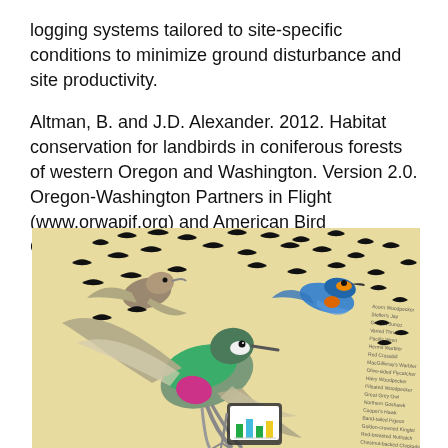logging systems tailored to site-specific conditions to minimize ground disturbance and site productivity.
Altman, B. and J.D. Alexander. 2012. Habitat conservation for landbirds in coniferous forests of western Oregon and Washington. Version 2.0. Oregon-Washington Partners in Flight (www.orwapif.org) and American Bird Conservancy and Klamath Bird Observatory.
[Figure (illustration): Illustration of a colorful bird (hummingbird-like with green and pink plumage) holding a tablet showing a bar chart, surrounded by many silhouetted birds in flight and a column of text/data on the right side. Background is a warm tan/beige color.]